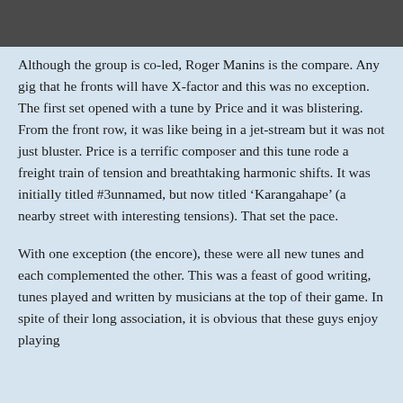[Figure (photo): Partial photo strip at the top of the page showing people, cropped]
Although the group is co-led, Roger Manins is the compare. Any gig that he fronts will have X-factor and this was no exception. The first set opened with a tune by Price and it was blistering. From the front row, it was like being in a jet-stream but it was not just bluster. Price is a terrific composer and this tune rode a freight train of tension and breathtaking harmonic shifts. It was initially titled #3unnamed, but now titled ‘Karangahape’ (a nearby street with interesting tensions). That set the pace.
With one exception (the encore), these were all new tunes and each complemented the other. This was a feast of good writing, tunes played and written by musicians at the top of their game. In spite of their long association, it is obvious that these guys enjoy playing